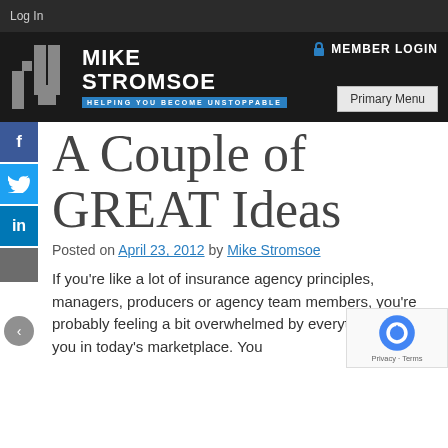Log In
[Figure (logo): Mike Stromsoe brand header with logo, MEMBER LOGIN link, tagline 'HELPING YOU BECOME UNSTOPPABLE', and Primary Menu button]
A Couple of GREAT Ideas
Posted on April 23, 2012 by Mike Stromsoe
If you're like a lot of insurance agency principles, managers, producers or agency team members, you're probably feeling a bit overwhelmed by everything facing you in today's marketplace. You